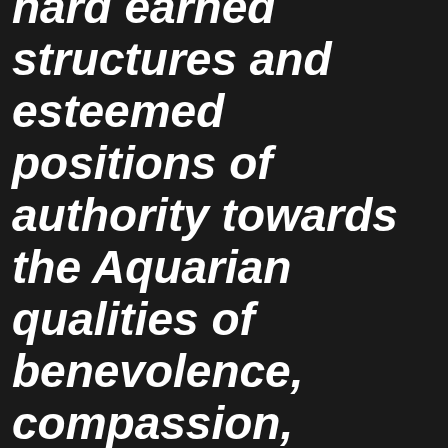hard earned structures and esteemed positions of authority towards the Aquarian qualities of benevolence, compassion, mercy and kindness becomes the new vibrational journey that leads to new patterns of behavior. Now